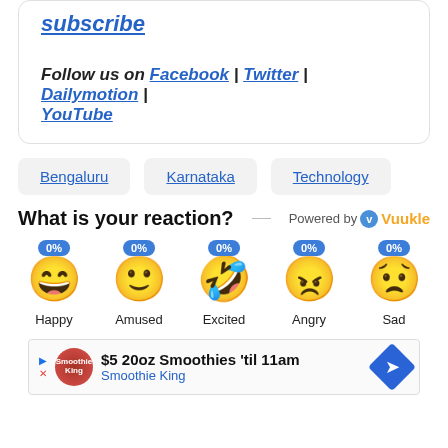subscribe
Follow us on Facebook | Twitter | Dailymotion | YouTube
Bengaluru
Karnataka
Technology
What is your reaction?
[Figure (infographic): Reaction emojis: Happy 0%, Amused 0%, Excited 0%, Angry 0%, Sad 0%]
$5 20oz Smoothies 'til 11am Smoothie King